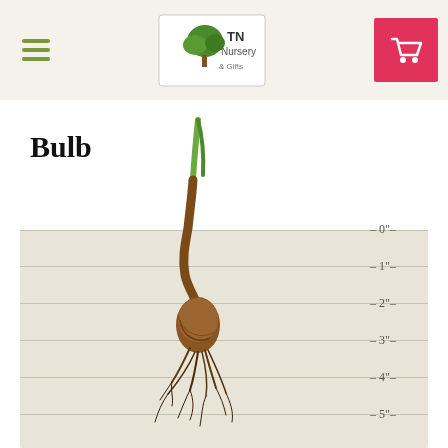TN Nursery - navigation header with logo and cart
Bulb
[Figure (illustration): A plant bulb with green shoot at top and fibrous roots at bottom, shown against a beige ruler background with measurement markings from 0" to 5" indicating depth]